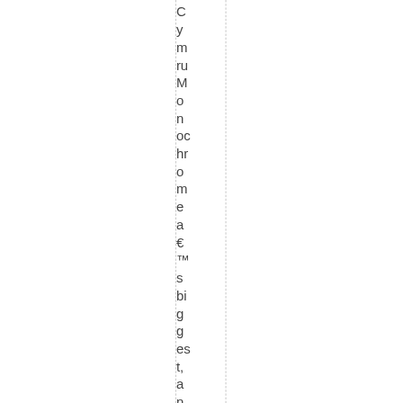CymruMonochromea€™s biggest, and possibly th